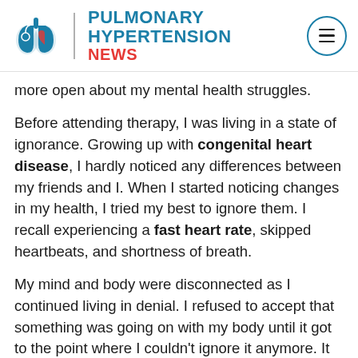Pulmonary Hypertension News
more open about my mental health struggles.
Before attending therapy, I was living in a state of ignorance. Growing up with congenital heart disease, I hardly noticed any differences between my friends and I. When I started noticing changes in my health, I tried my best to ignore them. I recall experiencing a fast heart rate, skipped heartbeats, and shortness of breath.
My mind and body were disconnected as I continued living in denial. I refused to accept that something was going on with my body until it got to the point where I couldn't ignore it anymore. It took a few years of talking about this with my therapist to recognize the parts of myself on which I needed to work. I had to learn to trust myself and